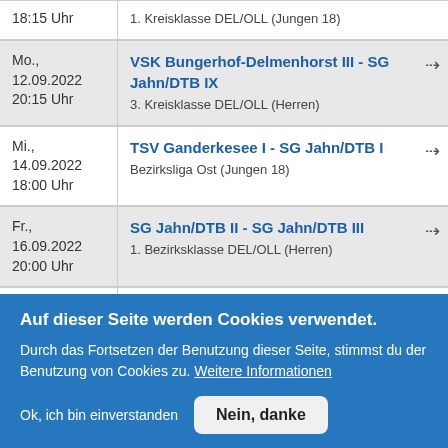| Date/Time | Match / League |
| --- | --- |
| 18:15 Uhr | 1. Kreisklasse DEL/OLL (Jungen 18) |
| Mo.,
12.09.2022
20:15 Uhr | VSK Bungerhof-Delmenhorst III - SG Jahn/DTB IX
3. Kreisklasse DEL/OLL (Herren) |
| Mi.,
14.09.2022
18:00 Uhr | TSV Ganderkesee I - SG Jahn/DTB I
Bezirksliga Ost (Jungen 18) |
| Fr.,
16.09.2022
20:00 Uhr | SG Jahn/DTB II - SG Jahn/DTB III
1. Bezirksklasse DEL/OLL (Herren) |
| Fr., | SG Jahn/DTB VIII - SG Jahn/DTB VII |
Auf dieser Seite werden Cookies verwendet.
Durch das Fortsetzen der Benutzung dieser Seite, stimmst du der Benutzung von Cookies zu. Weitere Informationen
Ok, ich bin einverstanden
Nein, danke